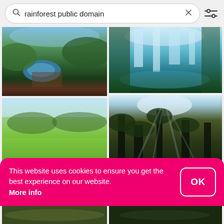[Figure (screenshot): Search bar with query 'rainforest public domain', X close button, and filter/settings icon]
[Figure (photo): Aerial view of a river bend surrounded by rainforest and farmland]
[Figure (photo): Tall cascading waterfall in a lush green rainforest setting]
[Figure (photo): Green rice paddy field with trees in background under blue sky]
[Figure (photo): Looking up through tall redwood or rainforest trees with light rays]
[Figure (photo): Dark misty forest path with tall trees]
[Figure (photo): Dark fern-covered rainforest floor]
This website uses cookies to ensure you get the best experience on our website. More info
OK